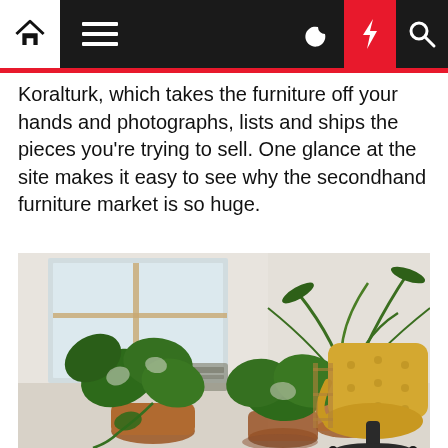[Navigation bar with home, menu, moon, lightning, search icons]
Koralturk, which takes the furniture off your hands and photographs, lists and ships the pieces you're trying to sell. One glance at the site makes it easy to see why the secondhand furniture market is so huge.
[Figure (photo): Interior photo showing houseplants including a large monstera and a tall palm-like plant in terracotta pots, with a yellow tufted office chair on a black base, against a white brick wall with a large window in the background.]